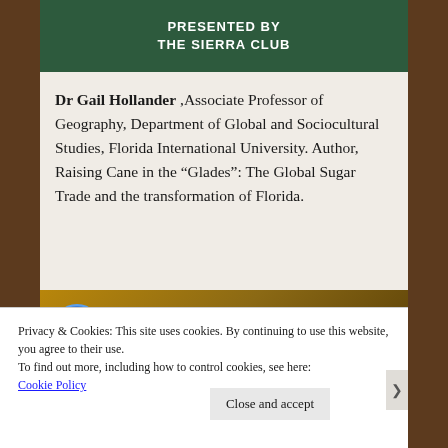[Figure (photo): Photo of a green banner reading 'PRESENTED BY THE SIERRA CLUB' at the top of the page]
Dr Gail Hollander ,Associate Professor of Geography, Department of Global and Sociocultural Studies, Florida International University. Author, Raising Cane in the “Glades”: The Global Sugar Trade and the transformation of Florida.
[Figure (screenshot): Video thumbnail for 'Big Sugar Summit: Dr G...' with a circular logo icon on the left and three-dot menu on the right, shown on a brown/gold background]
Privacy & Cookies: This site uses cookies. By continuing to use this website, you agree to their use.
To find out more, including how to control cookies, see here: Cookie Policy
Close and accept